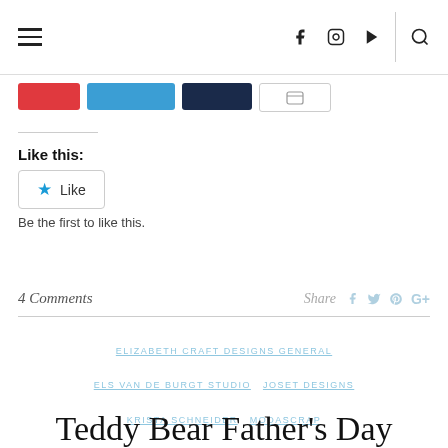≡  f  ⬛  ▶  🔍
[Figure (screenshot): Social share buttons: red, blue, dark navy, and white/outline buttons]
Like this:
★ Like
Be the first to like this.
4 Comments   Share  f  🐦  ⓟ  G+
ELIZABETH CRAFT DESIGNS GENERAL  ELS VAN DE BURGT STUDIO  JOSET DESIGNS  KRISTA SCHNEIDER  MODASCRAP  SOFT FINISH CARDSTOCK  VIDEOS
Teddy Bear Father's Day